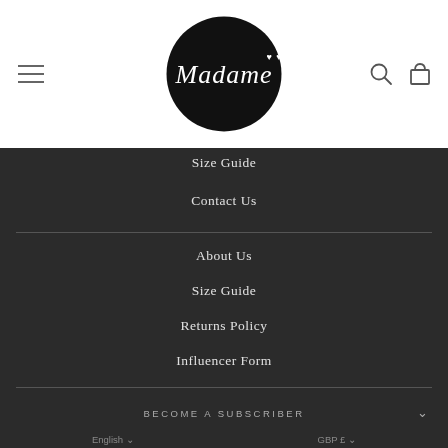[Figure (logo): Madame brand logo: white cursive script on black circle with small heart decorations]
Size Guide
Contact Us
About Us
Size Guide
Returns Policy
Influencer Form
BECOME A SUBSCRIBER
English  GBP £